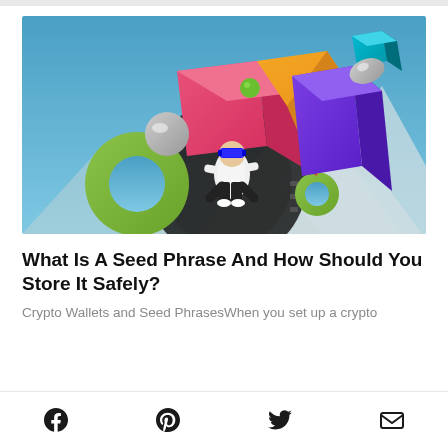[Figure (illustration): 3D digital art illustration showing a virtual/metaverse scene with colorful geometric 3D shapes (pink and orange cube, purple rectangular prism, green torus/donut, silver sphere), a film reel strip, and a human figure wearing a VR/AR headset sitting among the shapes, all floating against a mountain and blue sky background.]
What Is A Seed Phrase And How Should You Store It Safely?
Crypto Wallets and Seed PhrasesWhen you set up a crypto
Facebook | Pinterest | Twitter | Email